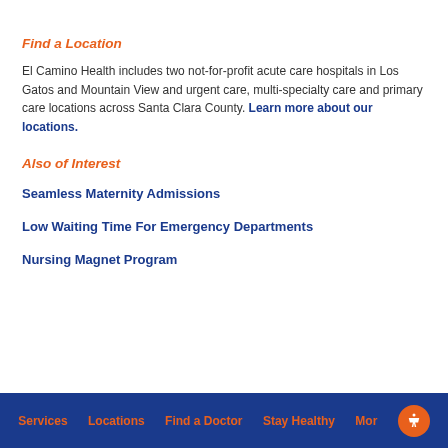Find a Location
El Camino Health includes two not-for-profit acute care hospitals in Los Gatos and Mountain View and urgent care, multi-specialty care and primary care locations across Santa Clara County. Learn more about our locations.
Also of Interest
Seamless Maternity Admissions
Low Waiting Time For Emergency Departments
Nursing Magnet Program
Services  Locations  Find a Doctor  Stay Healthy  More